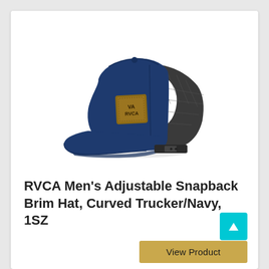[Figure (photo): RVCA navy blue and dark mesh trucker snapback hat with curved brim and leather RVCA logo patch on the front, photographed on white background]
RVCA Men’s Adjustable Snapback Brim Hat, Curved Trucker/Navy, 1SZ